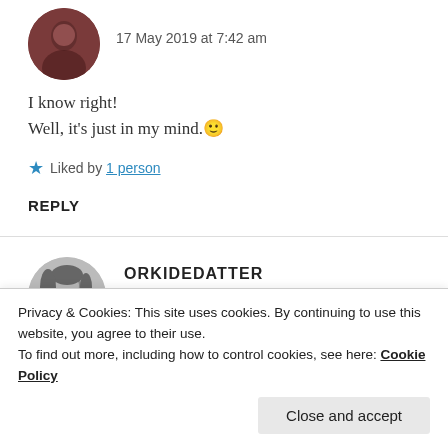17 May 2019 at 7:42 am
I know right!
Well, it's just in my mind.🙂
★ Liked by 1 person
REPLY
[Figure (photo): Avatar photo of second commenter ORKIDEDATTER, grayscale portrait]
ORKIDEDATTER
16 May 2019 at 11:51 am
Privacy & Cookies: This site uses cookies. By continuing to use this website, you agree to their use.
To find out more, including how to control cookies, see here: Cookie Policy
Close and accept